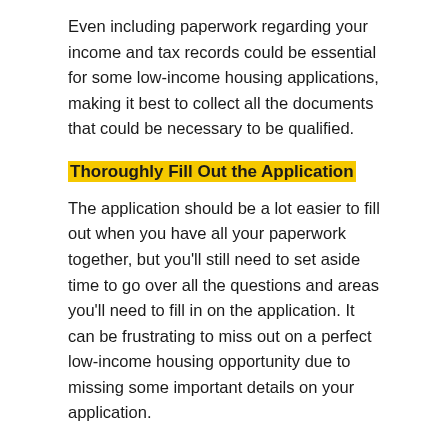Even including paperwork regarding your income and tax records could be essential for some low-income housing applications, making it best to collect all the documents that could be necessary to be qualified.
Thoroughly Fill Out the Application
The application should be a lot easier to fill out when you have all your paperwork together, but you'll still need to set aside time to go over all the questions and areas you'll need to fill in on the application. It can be frustrating to miss out on a perfect low-income housing opportunity due to missing some important details on your application.
If you have any questions about parts of the application, it's best to reach out for help rather than turn it in half-finished since it could immediately disqualify you from a certain housing program. With the application filled out in full, it should be a lot easier for you to decide where you should buy a home.